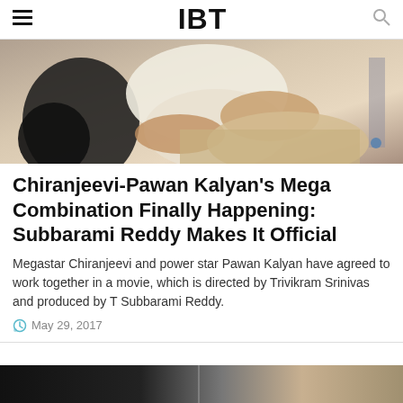IBT
[Figure (photo): A photo showing two people, one in white clothing and one in light-colored clothing, in close physical contact or interaction.]
Chiranjeevi-Pawan Kalyan's Mega Combination Finally Happening: Subbarami Reddy Makes It Official
Megastar Chiranjeevi and power star Pawan Kalyan have agreed to work together in a movie, which is directed by Trivikram Srinivas and produced by T Subbarami Reddy.
May 29, 2017
[Figure (photo): Partial view of another article image at the bottom of the page.]